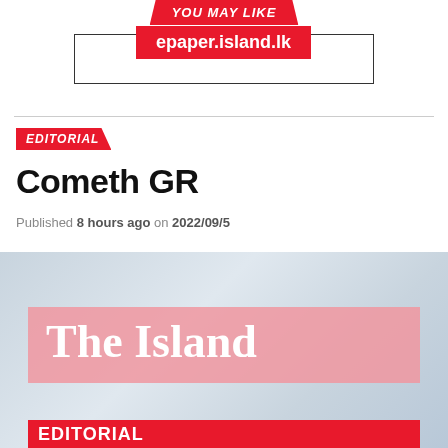YOU MAY LIKE
[Figure (other): epaper.island.lk promotional banner with red background inside a rectangular bordered box]
EDITORIAL
Cometh GR
Published 8 hours ago on 2022/09/5
[Figure (photo): Background photo of papers/documents with a pink semi-transparent banner reading 'The Island' and a red editorial bar at the bottom]